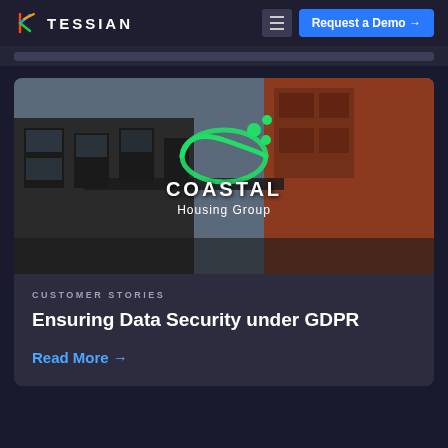TESSIAN — Request a Demo →
[Figure (screenshot): Coastal Housing Group building photograph with green swirl logo overlay showing COASTAL Housing Group text]
CUSTOMER STORIES
Ensuring Data Security under GDPR
Read More →